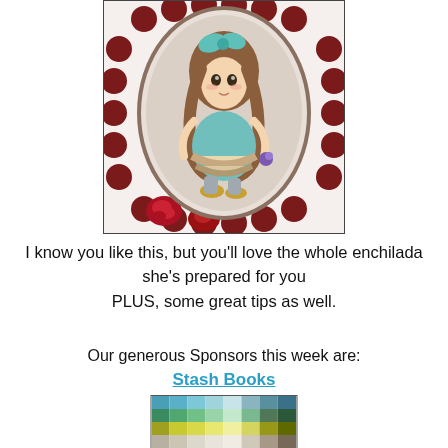[Figure (illustration): A craft card featuring a hand-drawn anime-style girl with long brown hair and a teal bow, sitting and holding flowers, displayed in an oval frame with a dark red/maroon decorative border featuring roses and round beads.]
I know you like this, but you'll love the whole enchilada she's prepared for you
PLUS, some great tips as well.
Our generous Sponsors this week are:
Stash Books
[Figure (photo): A color swatch grid showing various shades of blue, green, teal, and neutral tones arranged in rows and columns.]